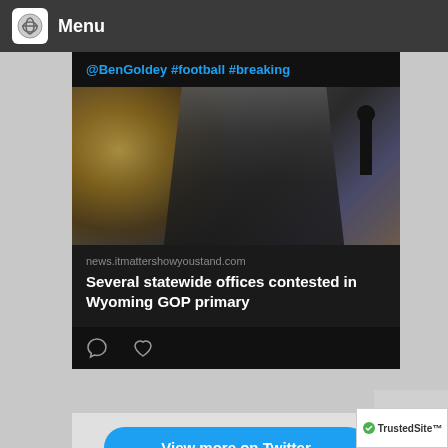Menu
@BenGoldey #football #breaking
[Figure (photo): A man in a dark suit speaking at a podium with a microphone, gold chandelier decoration in background]
news.itmattershowyoustand.com
Several statewide offices contested in Wyoming GOP primary
View more on Twitter
[Figure (logo): TrustedSite badge with checkmark]